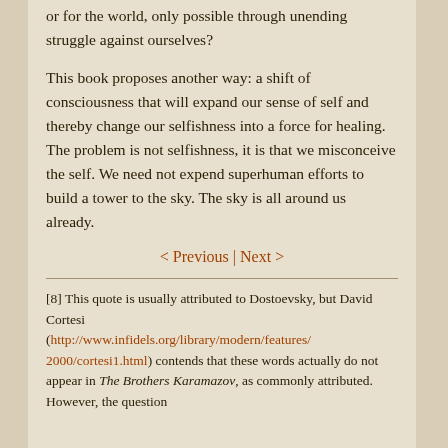or for the world, only possible through unending struggle against ourselves?
This book proposes another way: a shift of consciousness that will expand our sense of self and thereby change our selfishness into a force for healing. The problem is not selfishness, it is that we misconceive the self. We need not expend superhuman efforts to build a tower to the sky. The sky is all around us already.
< Previous | Next >
[8] This quote is usually attributed to Dostoevsky, but David Cortesi (http://www.infidels.org/library/modern/features/2000/cortesi1.html) contends that these words actually do not appear in The Brothers Karamazov, as commonly attributed. However, the question...